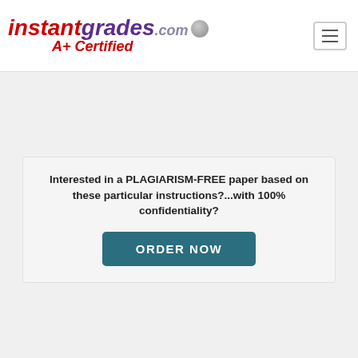instantgrades.com A+ Certified
Interested in a PLAGIARISM-FREE paper based on these particular instructions?...with 100% confidentiality?
ORDER NOW
Marketing strategy plan
February 5, 2014   datapro
the marketing strategy plan is about the Everyday Sunday, which is a relaxation drink.